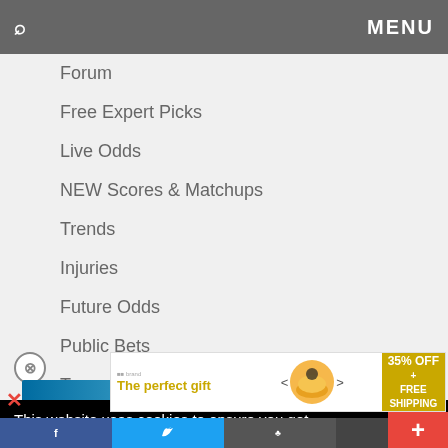🔍  MENU
Forum
Free Expert Picks
Live Odds
NEW Scores & Matchups
Trends
Injuries
Future Odds
Public Bets
Teams
Pitchers
[Figure (screenshot): Blue image strip partially visible]
This website uses cookies to ensure you get the best experience on our website.
[Figure (infographic): Advertisement banner: The perfect gift - 35% OFF + FREE SHIPPING with bowl image]